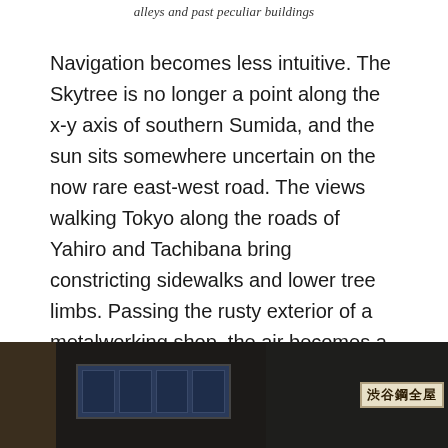alleys and past peculiar buildings
Navigation becomes less intuitive. The Skytree is no longer a point along the x-y axis of southern Sumida, and the sun sits somewhere uncertain on the now rare east-west road. The views walking Tokyo along the roads of Yahiro and Tachibana bring constricting sidewalks and lower tree limbs. Passing the rusty exterior of a metalworking shop, the air becomes a tincture of spark and iron.  Less assuming fabric shops seem slightly shuttered behind wooden slats, and exude earthier smells.
[Figure (photo): Bottom portion of a dark photograph showing a Japanese street scene: left side shows cluttered workshop/alley items, center shows a dark vehicle or structure with blue-tinted windows/screens, right side shows a sign with Japanese kanji characters including what appears to be '渋谷鋼全屋' or similar text on a light background sign.]